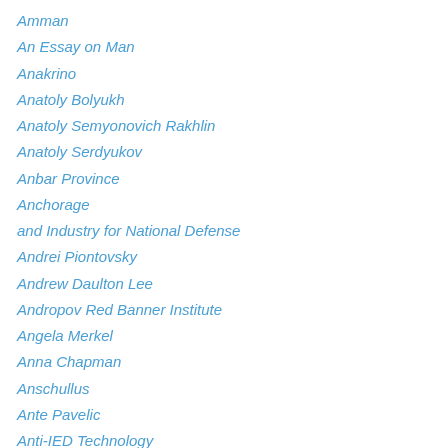Amman
An Essay on Man
Anakrino
Anatoly Bolyukh
Anatoly Semyonovich Rakhlin
Anatoly Serdyukov
Anbar Province
Anchorage
and Industry for National Defense
Andrei Piontovsky
Andrew Daulton Lee
Andropov Red Banner Institute
Angela Merkel
Anna Chapman
Anschullus
Ante Pavelic
Anti-IED Technology
Anti-ISIS Coalition
Anti-Missile Defense
Antony Blinken